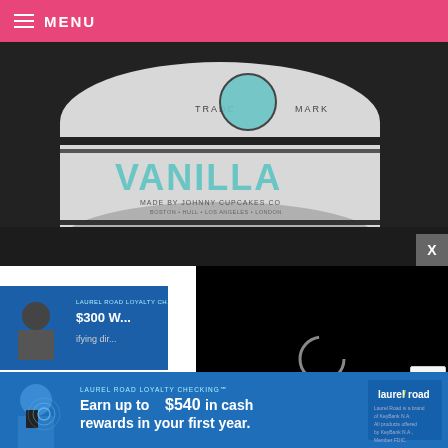MENU
[Figure (photo): Close-up photo of a Johnny Cupcakes Vanilla product tin/can in black and white with teal branding, showing TRADE MARK, VANILLA, MADE BY JOHNNY CUPCAKES CO, BOSTON • HULL • LOS ANGELES • LONDON]
[Figure (screenshot): Small advertisement thumbnail showing Laurel Road Loyalty Checking with $300 and partial text about qualifying direct]
[Figure (screenshot): Black video player area with a loading spinner circle in the center]
Or vanilla?
[Figure (screenshot): Bottom banner advertisement: LAUREL ROAD LOYALTY CHECKING℠ — Earn up to $540 in cash rewards in your first year. Laurel Road logo shown. Laurel Road is a brand of KeyBank N.A. All products offered by KeyBank N.A., Member FDIC.]